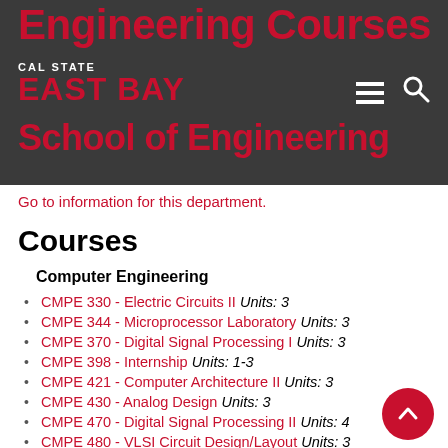Engineering Courses
[Figure (logo): Cal State East Bay logo with hamburger menu and search icon on dark background with School of Engineering subtitle]
Go to information for this department.
Courses
Computer Engineering
CMPE 330 - Electric Circuits II Units: 3
CMPE 344 - Microprocessor Laboratory Units: 3
CMPE 370 - Digital Signal Processing I Units: 3
CMPE 398 - Internship Units: 1-3
CMPE 421 - Computer Architecture II Units: 3
CMPE 430 - Analog Design Units: 3
CMPE 470 - Digital Signal Processing II Units: 4
CMPE 480 - VLSI Circuit Design/Layout Units: 3